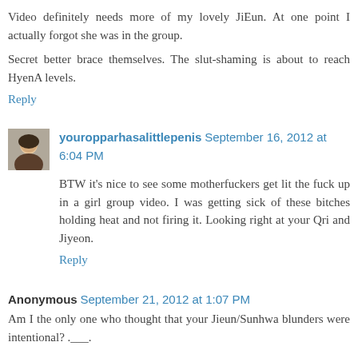Video definitely needs more of my lovely JiEun. At one point I actually forgot she was in the group.
Secret better brace themselves. The slut-shaming is about to reach HyenA levels.
Reply
youropparhasalittlepenis  September 16, 2012 at 6:04 PM
BTW it's nice to see some motherfuckers get lit the fuck up in a girl group video. I was getting sick of these bitches holding heat and not firing it. Looking right at your Qri and Jiyeon.
Reply
Anonymous  September 21, 2012 at 1:07 PM
Am I the only one who thought that your Jieun/Sunhwa blunders were intentional? .___.